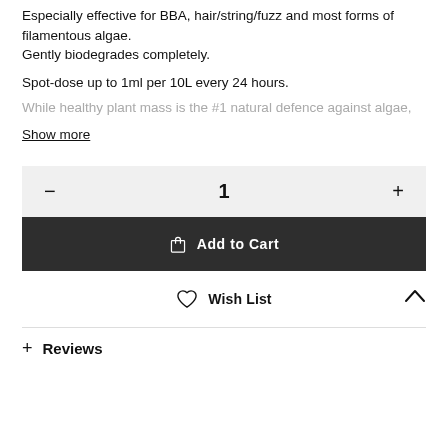Especially effective for BBA, hair/string/fuzz and most forms of filamentous algae.
Gently biodegrades completely.
Spot-dose up to 1ml per 10L every 24 hours.
While healthy plant mass is the #1 natural defence against algae,
Show more
- 1 +
Add to Cart
Wish List
+ Reviews